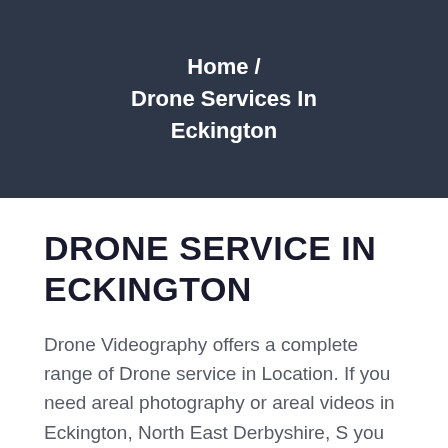Home / Drone Services In Eckington
DRONE SERVICE IN ECKINGTON
Drone Videography offers a complete range of Drone service in Location. If you need areal photography or areal videos in Eckington, North East Derbyshire, S you